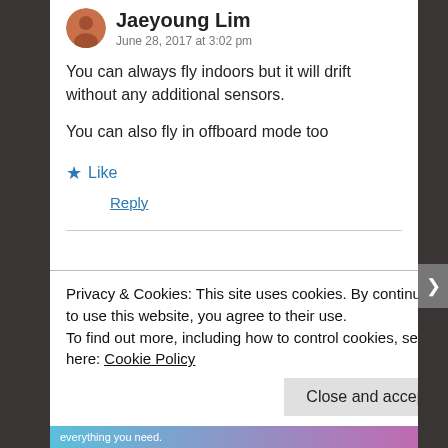Jaeyoung Lim
June 28, 2017 at 3:02 pm
You can always fly indoors but it will drift without any additional sensors.
You can also fly in offboard mode too
★ Like
Reply
Jaeyoung Lim
Privacy & Cookies: This site uses cookies. By continuing to use this website, you agree to their use.
To find out more, including how to control cookies, see here: Cookie Policy
Close and accept
everything you need.